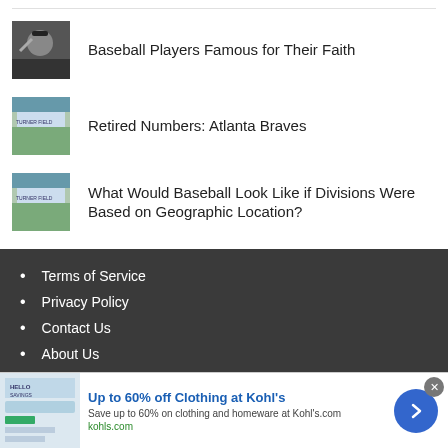Baseball Players Famous for Their Faith
Retired Numbers: Atlanta Braves
What Would Baseball Look Like if Divisions Were Based on Geographic Location?
Terms of Service
Privacy Policy
Contact Us
About Us
Copyright 2013-2018 Baseball Essential.
[Figure (infographic): Advertisement: Up to 60% off Clothing at Kohl's. Save up to 60% on clothing and homeware at Kohl's.com. kohls.com]